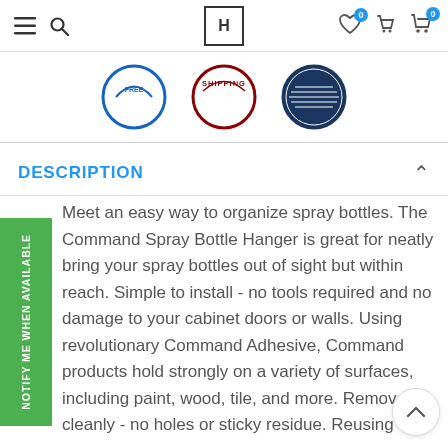Navigation bar with hamburger menu, search, logo, wishlist (0), delivery, and cart (0) icons
[Figure (logo): Three circular badge logos: a blue circle badge (partially visible), a red/dark text SHIPPING circle badge, and a navy striped circle badge]
DESCRIPTION
Meet an easy way to organize spray bottles. The Command Spray Bottle Hanger is great for neatly bring your spray bottles out of sight but within reach. Simple to install - no tools required and no damage to your cabinet doors or walls. Using revolutionary Command Adhesive, Command products hold strongly on a variety of surfaces, including paint, wood, tile, and more. Removes cleanly - no holes or sticky residue. Reusing our
NOTIFY ME WHEN AVAILABLE